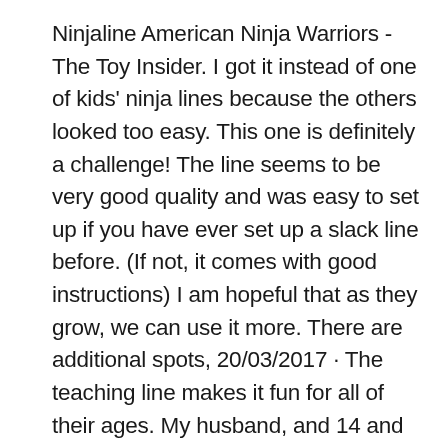Ninjaline American Ninja Warriors - The Toy Insider. I got it instead of one of kids' ninja lines because the others looked too easy. This one is definitely a challenge! The line seems to be very good quality and was easy to set up if you have ever set up a slack line before. (If not, it comes with good instructions) I am hopeful that as they grow, we can use it more. There are additional spots, 20/03/2017 · The teaching line makes it fun for all of their ages. My husband, and 14 and 12 year old girls like to practice without the teaching line. No one can resist trying it out once it is set up. Even grandma and grandpa wanted to try walking the line